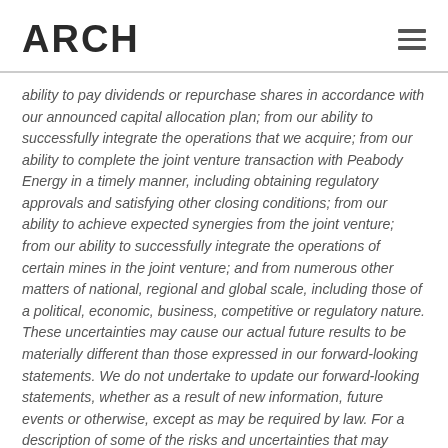ARCH
ability to pay dividends or repurchase shares in accordance with our announced capital allocation plan; from our ability to successfully integrate the operations that we acquire; from our ability to complete the joint venture transaction with Peabody Energy in a timely manner, including obtaining regulatory approvals and satisfying other closing conditions; from our ability to achieve expected synergies from the joint venture; from our ability to successfully integrate the operations of certain mines in the joint venture; and from numerous other matters of national, regional and global scale, including those of a political, economic, business, competitive or regulatory nature. These uncertainties may cause our actual future results to be materially different than those expressed in our forward-looking statements. We do not undertake to update our forward-looking statements, whether as a result of new information, future events or otherwise, except as may be required by law. For a description of some of the risks and uncertainties that may affect our